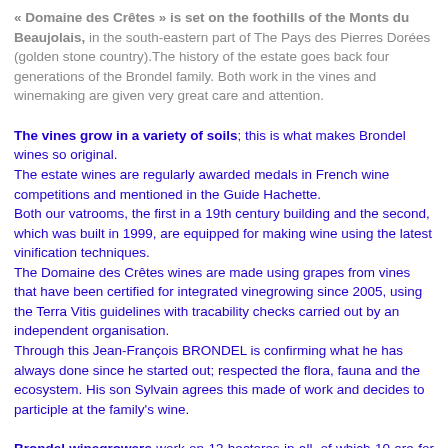« Domaine des Crêtes » is set on the foothills of the Monts du Beaujolais, in the south-eastern part of The Pays des Pierres Dorées (golden stone country).The history of the estate goes back four generations of the Brondel family. Both work in the vines and winemaking are given very great care and attention.
The vines grow in a variety of soils; this is what makes Brondel wines so original. The estate wines are regularly awarded medals in French wine competitions and mentioned in the Guide Hachette. Both our vatrooms, the first in a 19th century building and the second, which was built in 1999, are equipped for making wine using the latest vinification techniques. The Domaine des Crêtes wines are made using grapes from vines that have been certified for integrated vinegrowing since 2005, using the Terra Vitis guidelines with tracability checks carried out by an independent organisation. Through this Jean-François BRONDEL is confirming what he has always done since he started out; respected the flora, fauna and the ecosystem. His son Sylvain agrees this made of work and decides to participle at the family's wine.
Brondel winegrowers work on 13 hectares in all, of which 10 are for the red and rosé wine , so this is the gamay grape variety, and 1.5 hectare is for white wine and Crémant de Bourgogne, which is the chardonnay grape variety. This grape variety